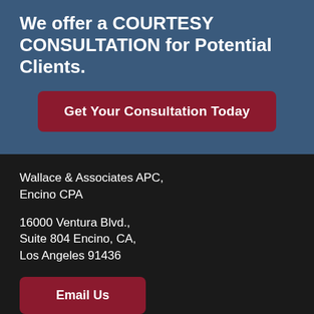We offer a COURTESY CONSULTATION for Potential Clients.
Get Your Consultation Today
Wallace & Associates APC, Encino CPA
16000 Ventura Blvd., Suite 804 Encino, CA, Los Angeles 91436
Email Us